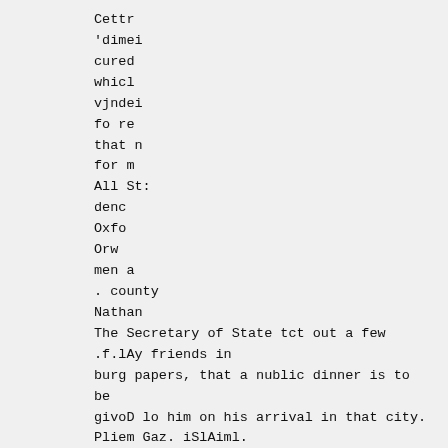Cettr
'dimei
cured
whicl
vjndei
fo re
that n
for m
All St:
denc
Oxfo
Orw
men a
. county
Nathan
The Secretary of State tct out a few
.f.lAy friends in
burg papers, that a nublic dinner is to be
givoD lo him on his arrival in that city.
Pliem Gaz. iSlAiml.
Esq. ar
The
the aho
gratifiei